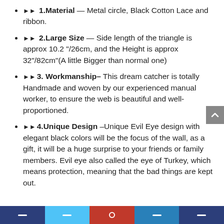➤➤ 1.Material — Metal circle, Black Cotton Lace and ribbon.
➤➤ 2.Large Size — Side length of the triangle is approx 10.2"/26cm, and the Height is approx 32"/82cm"(A little Bigger than normal one)
➤➤3. Workmanship– This dream catcher is totally Handmade and woven by our experienced manual worker, to ensure the web is beautiful and well-proportioned.
➤➤4.Unique Design –Unique Evil Eye design with elegant black colors will be the focus of the wall, as a gift, it will be a huge surprise to your friends or family members. Evil eye also called the eye of Turkey, which means protection, meaning that the bad things are kept out.